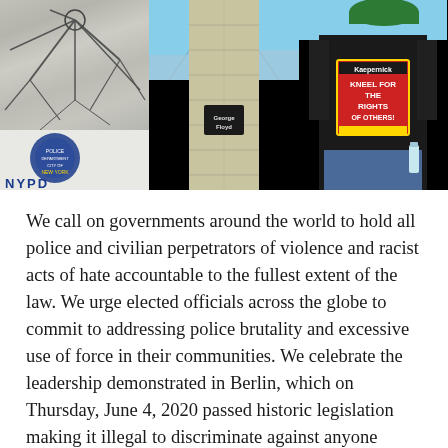[Figure (photo): Three-panel photo strip: left panel shows a smashed NYPD vehicle window with NYPD logo/text visible; center panel shows a bridge stone pillar with 'George Floyd' graffiti on it against a blue sky; right panel shows a person from behind wearing a black t-shirt with a red Kaepernick 'KNEEL FOR THE RIGHTS OF OTHERS!' patch and a green cap.]
We call on governments around the world to hold all police and civilian perpetrators of violence and racist acts of hate accountable to the fullest extent of the law. We urge elected officials across the globe to commit to addressing police brutality and excessive use of force in their communities. We celebrate the leadership demonstrated in Berlin, which on Thursday, June 4, 2020 passed historic legislation making it illegal to discriminate against anyone based on background, skin color, gender, religion, disabilities, worldview, age, class, education or sexual identity. We also are grateful to God that